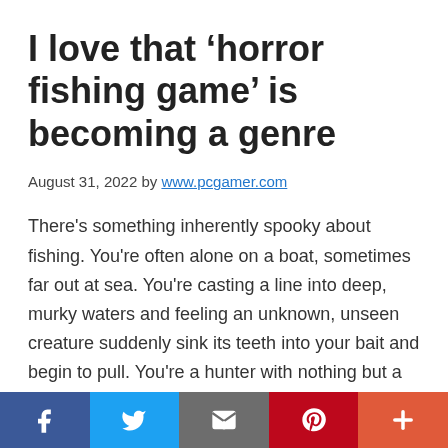I love that ‘horror fishing game’ is becoming a genre
August 31, 2022 by www.pcgamer.com
There's something inherently spooky about fishing. You're often alone on a boat, sometimes far out at sea. You're casting a line into deep, murky waters and feeling an unknown, unseen creature suddenly sink its teeth into your bait and begin to pull. You're a hunter with nothing but a string on a stick in an environment almost entirely hidden from view, one you can't survive in for long should anything go